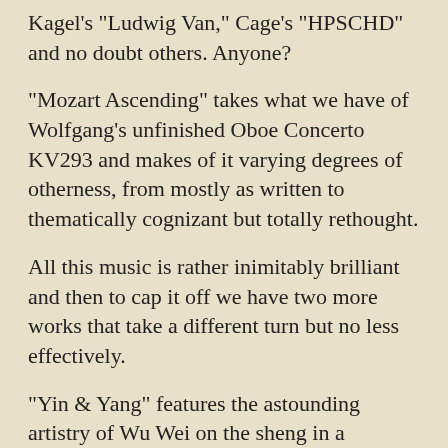Kagel's "Ludwig Van," Cage's "HPSCHD" and no doubt others. Anyone?
"Mozart Ascending" takes what we have of Wolfgang's unfinished Oboe Concerto KV293 and makes of it varying degrees of otherness, from mostly as written to thematically cognizant but totally rethought.
All this music is rather inimitably brilliant and then to cap it off we have two more works that take a different turn but no less effectively.
"Yin & Yang" features the astounding artistry of Wu Wei on the sheng in a concerted work for the instrument and orchestra. Understandably Chinese and Asian sorts of motives weave in and out of the music and yet too we have intersections with Modernism so it fits in with what we heard previously and also captivates in itself.
The final "Inner Worlds" for orchestra brings us thorough-goingly original music not tied to anything per se but the composer's muse, though it does fit in with the composer's